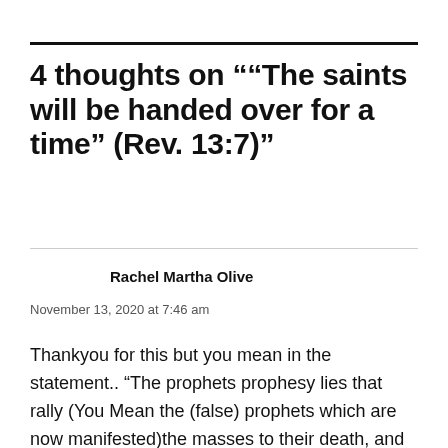4 thoughts on "“The saints will be handed over for a time” (Rev. 13:7)"
Rachel Martha Olive
November 13, 2020 at 7:46 am
Thankyou for this but you mean in the statement.. “The prophets prophesy lies that rally (You Mean the (false) prophets which are now manifested)the masses to their death, and God’s people love it so. That prophecy has been